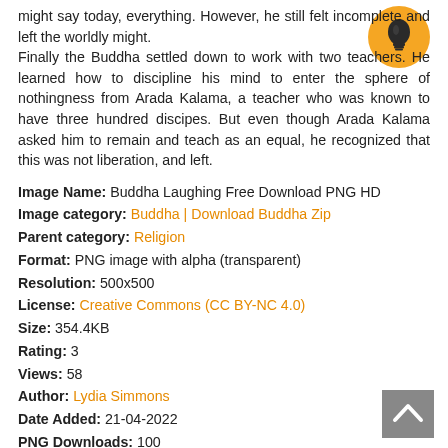might say today, everything. However, he still felt incomplete and left the worldly might. Finally the Buddha settled down to work with two teachers. He learned how to discipline his mind to enter the sphere of nothingness from Arada Kalama, a teacher who was known to have three hundred discipes. But even though Arada Kalama asked him to remain and teach as an equal, he recognized that this was not liberation, and left.
[Figure (illustration): Orange circle lightbulb icon in top right corner]
Image Name: Buddha Laughing Free Download PNG HD
Image category: Buddha | Download Buddha Zip
Parent category: Religion
Format: PNG image with alpha (transparent)
Resolution: 500x500
License: Creative Commons (CC BY-NC 4.0)
Size: 354.4KB
Rating: 3
Views: 58
Author: Lydia Simmons
Date Added: 21-04-2022
PNG Downloads: 100
ICON Downloads: 43
[Figure (illustration): Grey back-to-top button with upward chevron arrow]